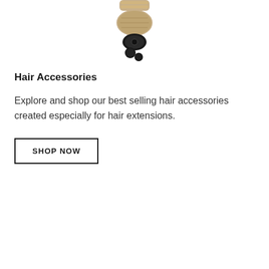[Figure (photo): Partial view of a hair accessory product (appears to be a hair clip or barrette with metallic/beaded details and a black base) cropped at top of page]
Hair Accessories
Explore and shop our best selling hair accessories created especially for hair extensions.
SHOP NOW